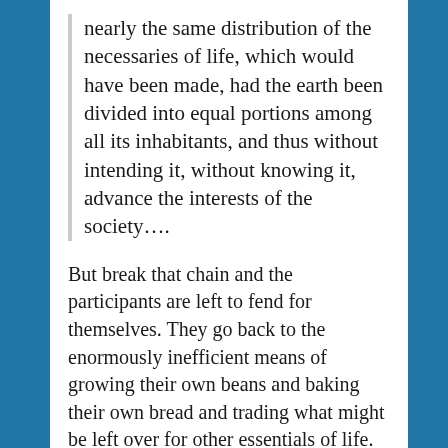nearly the same distribution of the necessaries of life, which would have been made, had the earth been divided into equal portions among all its inhabitants, and thus without intending it, without knowing it, advance the interests of the society….
But break that chain and the participants are left to fend for themselves. They go back to the enormously inefficient means of growing their own beans and baking their own bread and trading what might be left over for other essentials of life.
John Fortschen told the story of what happens next in his searing and heart